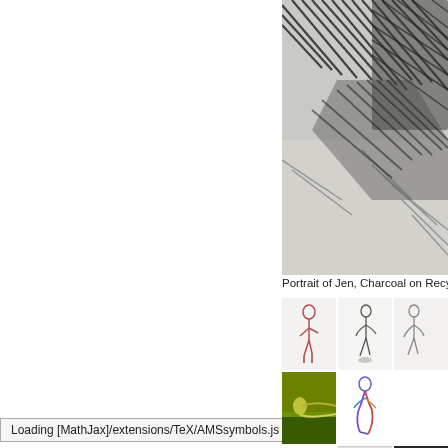[Figure (illustration): Large charcoal drawing of portrait — dark diagonal hatching strokes on light paper, partially cropped]
Portrait of Jen, Charcoal on Recycle
[Figure (illustration): Thumbnail: pink/red contour figure drawing seated on stool]
[Figure (illustration): Thumbnail: charcoal standing figure drawing, side view]
[Figure (illustration): Thumbnail: partial figure drawing, right edge cropped]
[Figure (illustration): Thumbnail: colorful figure painting, yellow-green tones, figure lying down]
[Figure (illustration): Thumbnail: blue/purple/red figure drawing, figure kneeling]
[Figure (illustration): Thumbnail: blank/white square, partially visible]
[Figure (illustration): Thumbnail: dark figure drawing, partially visible]
Loading [MathJax]/extensions/TeX/AMSsymbols.js